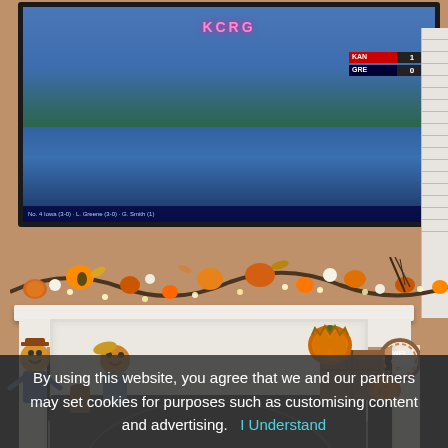[Figure (photo): Indoor photo of a living room fireplace decorated for fall/autumn. A large flat-screen TV is mounted above the fireplace showing a sports broadcast. The white mantel is decorated with fall garland including orange pumpkins, leaves, flowers, twigs, and string lights. Stuffed scarecrow figures and decorative pumpkins are on the floor in front of the fireplace. A wooden crate with pumpkins and a 'Welcome Fall' wreath decor are visible to the right.]
By using this website, you agree that we and our partners may set cookies for purposes such as customising content and advertising.   I Understand